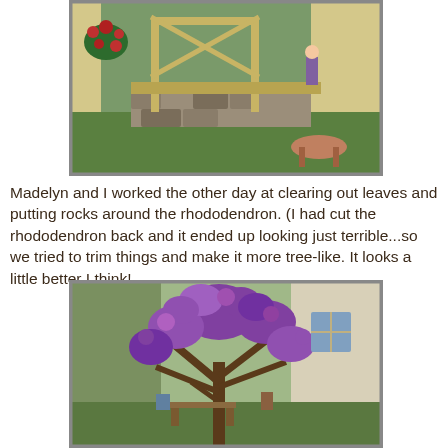[Figure (photo): Outdoor photo showing a wooden deck frame under construction beside a house, with a stone wall, green lawn, hanging flower basket with red blooms, and a person visible in the background near the house.]
Madelyn and I worked the other day at clearing out leaves and putting rocks around the rhododendron. (I had cut the rhododendron back and it ended up looking just terrible...so we tried to trim things and make it more tree-like. It looks a little better I think!
[Figure (photo): Outdoor photo of a large rhododendron bush with bright purple blooms, shaped like a tree, in front of a house with white siding. Trees and garden decorations visible in background.]